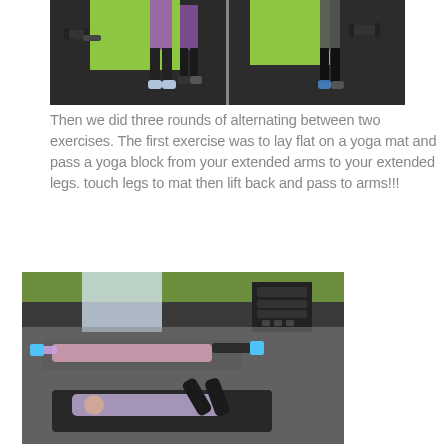[Figure (photo): Two side-by-side gym photos showing people standing in a fitness studio with green walls, dumbbells visible in the background, dark floor]
Then we did three rounds of alternating between two exercises.  The first exercise was to lay flat on a yoga mat and pass a yoga block from your extended arms to your extended legs. touch legs to mat then lift back and pass to arms!!!
[Figure (photo): Collage of gym photos showing a person lying on a yoga mat performing core exercises passing a yoga block between arms and legs, in a fitness studio with green walls]